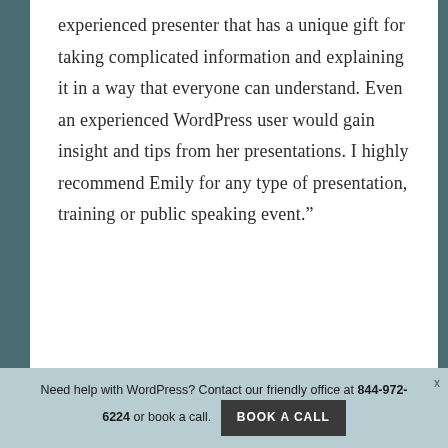experienced presenter that has a unique gift for taking complicated information and explaining it in a way that everyone can understand. Even an experienced WordPress user would gain insight and tips from her presentations. I highly recommend Emily for any type of presentation, training or public speaking event.”
Need help with WordPress? Contact our friendly office at 844-972-6224 or book a call. BOOK A CALL